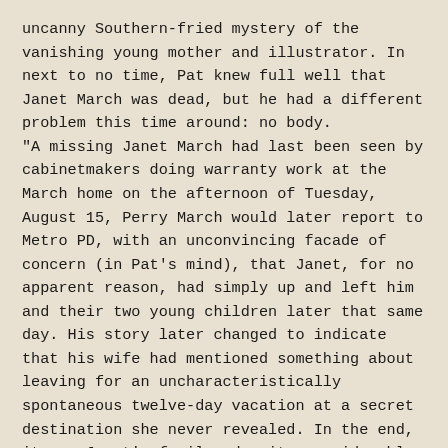uncanny Southern-fried mystery of the vanishing young mother and illustrator. In next to no time, Pat knew full well that Janet March was dead, but he had a different problem this time around: no body. "A missing Janet March had last been seen by cabinetmakers doing warranty work at the March home on the afternoon of Tuesday, August 15, Perry March would later report to Metro PD, with an unconvincing facade of concern (in Pat's mind), that Janet, for no apparent reason, had simply up and left him and their two young children later that same day. His story later changed to indicate that his wife had mentioned something about leaving for an uncharacteristically spontaneous twelve-day vacation at a secret destination she never revealed. In the end, it was Janet's family, despite considerable resistance from Perry, who officially reported her missing to police, albeit two